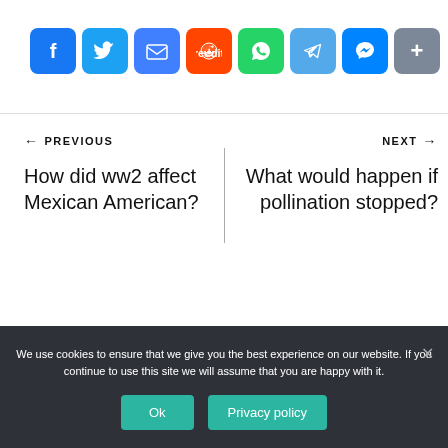[Figure (other): Row of social media share icons: Facebook (blue), Twitter (blue), Email (blue), Reddit (orange-red), WhatsApp (green), Telegram (light blue), Messenger (blue), Share/More (blue)]
← PREVIOUS
How did ww2 affect Mexican American?
NEXT →
What would happen if pollination stopped?
We use cookies to ensure that we give you the best experience on our website. If you continue to use this site we will assume that you are happy with it.
Ok
Privacy policy